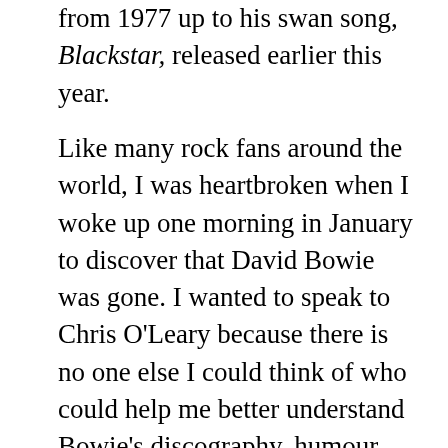from 1977 up to his swan song, Blackstar, released earlier this year.
Like many rock fans around the world, I was heartbroken when I woke up one morning in January to discover that David Bowie was gone. I wanted to speak to Chris O'Leary because there is no one else I could think of who could help me better understand Bowie's discography, humour, his myriad interests, the impact of drugs on his output, the various “characters” he played onstage, and his occasionally bizarre creative process. In today’s episode of Travels in Music, Chris